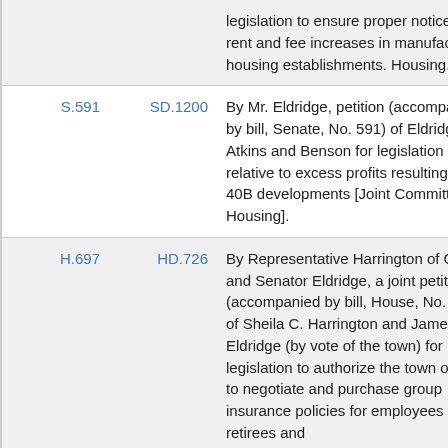| Bill | Document | Description |
| --- | --- | --- |
|  |  | legislation to ensure proper notice of rent and fee increases in manufactured housing establishments. Housing. |
| S.591 | SD.1200 | By Mr. Eldridge, petition (accompanied by bill, Senate, No. 591) of Eldridge, Atkins and Benson for legislation relative to excess profits resulting from 40B developments [Joint Committee on Housing]. |
| H.697 | HD.726 | By Representative Harrington of Groton and Senator Eldridge, a joint petition (accompanied by bill, House, No. 697) of Sheila C. Harrington and James B. Eldridge (by vote of the town) for legislation to authorize the town of Ayer to negotiate and purchase group insurance policies for employees retirees and |